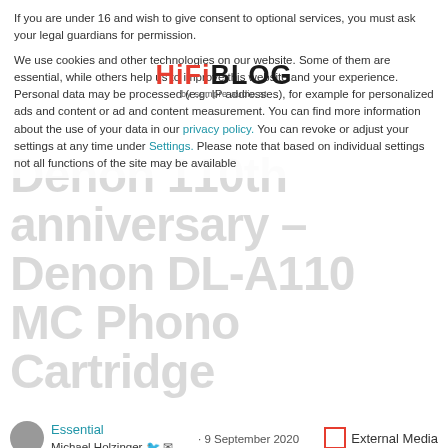If you are under 16 and wish to give consent to optional services, you must ask your legal guardians for permission.
We use cookies and other technologies on our website. Some of them are essential, while others help us to improve this website and your experience. Personal data may be processed (e.g. IP addresses), for example for personalized ads and content or ad and content measurement. You can find more information about the use of your data in our privacy policy. You can revoke or adjust your settings at any time under Settings. Please note that based on individual settings not all functions of the site may be available
Denon 110th anniversary – Denon DL-A110 MC Phono Cartridge
HiFiBLOG by sempre-audio.at
Essential
Michael Holzinger  · 9 September 2020
External Media
Last Updated: 5 December 2020  0  2 minutes read
Accept all
There is hardly a cartridge system that enjoys such a legendary